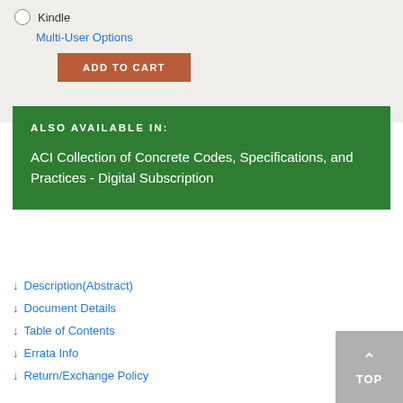Kindle
Multi-User Options
ADD TO CART
ALSO AVAILABLE IN:
ACI Collection of Concrete Codes, Specifications, and Practices - Digital Subscription
↓ Description(Abstract)
↓ Document Details
↓ Table of Contents
↓ Errata Info
↓ Return/Exchange Policy